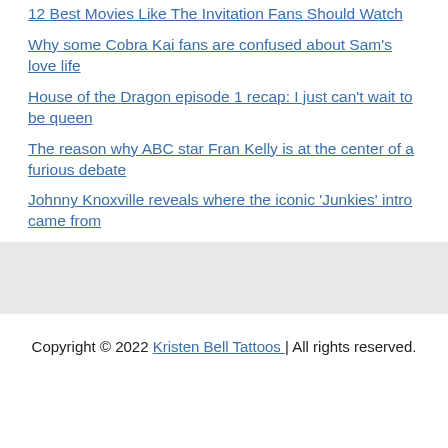12 Best Movies Like The Invitation Fans Should Watch
Why some Cobra Kai fans are confused about Sam's love life
House of the Dragon episode 1 recap: I just can't wait to be queen
The reason why ABC star Fran Kelly is at the center of a furious debate
Johnny Knoxville reveals where the iconic 'Junkies' intro came from
Copyright © 2022 Kristen Bell Tattoos | All rights reserved.